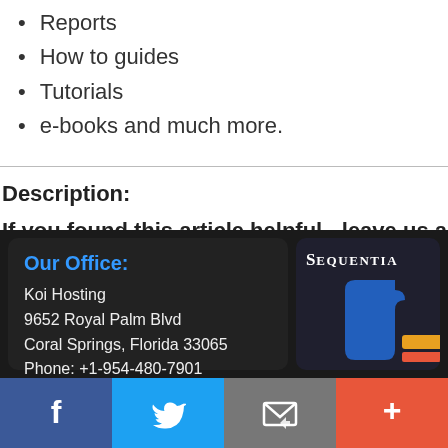Reports
How to guides
Tutorials
e-books and much more.
Description:
If you found this article helpful - leave us a comment and/or
[Figure (infographic): Footer with office address: Koi Hosting, 9652 Royal Palm Blvd, Coral Springs, Florida 33065, Phone: +1-954-480-7901 and Sequential logo with puzzle graphic on dark background]
[Figure (infographic): Social media bar with Facebook, Twitter, Email, and Plus buttons]